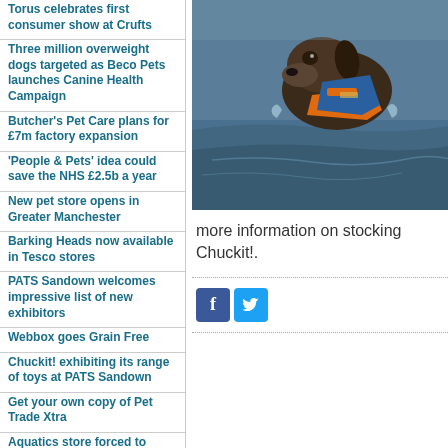Torus celebrates first consumer show at Crufts
Three million overweight dogs targeted as Beco Pets launches Canine Health Campaign
Butcher's Pet Care plans for £7m factory expansion
'People & Pets' idea could save the NHS £2.5b a year
New pet store opens in Greater Manchester
Barking Heads now available in Tesco stores
PATS Sandown welcomes impressive list of new exhibitors
Webbox goes Grain Free
Chuckit! exhibiting its range of toys at PATS Sandown
Get your own copy of Pet Trade Xtra
Aquatics store forced to close because of anti-social behaviour
BSB Products rolls out Carnilove dog food into UK market
Quit smoking for pets' sake, urges PDSA
[Figure (photo): A dog swimming in water wearing an orange and blue Chuckit! life vest]
more information on stocking Chuckit!.